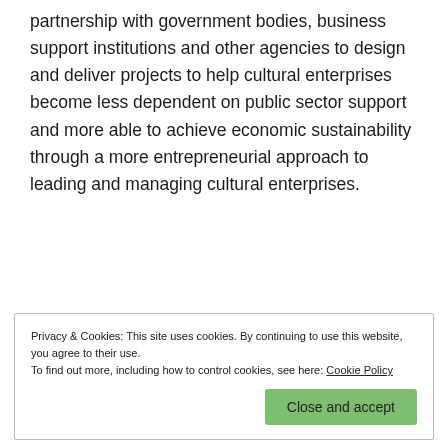partnership with government bodies, business support institutions and other agencies to design and deliver projects to help cultural enterprises become less dependent on public sector support and more able to achieve economic sustainability through a more entrepreneurial approach to leading and managing cultural enterprises.
Privacy & Cookies: This site uses cookies. By continuing to use this website, you agree to their use. To find out more, including how to control cookies, see here: Cookie Policy